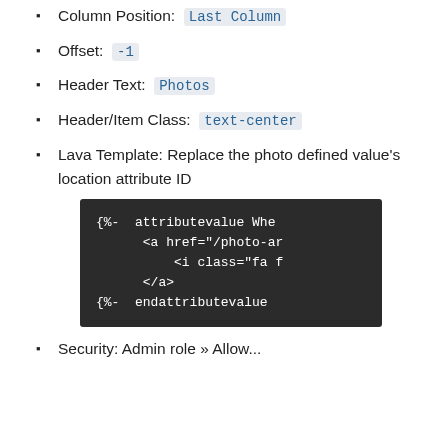Column Position: Last Column
Offset: -1
Header Text: Photos
Header/Item Class: text-center
Lava Template: Replace the photo defined value's location attribute ID
[Figure (screenshot): Dark code block showing Lava template snippet with {%- attributevalue, <a href="/photo-ar...", <i class="fa f...", </a>, {%- endattributevalue]
Security: Admin role » Allow...